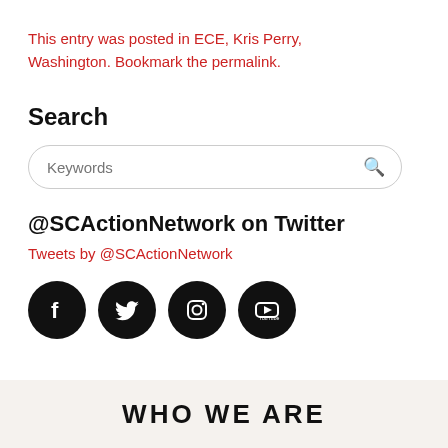This entry was posted in ECE, Kris Perry, Washington. Bookmark the permalink.
Search
Keywords [search box]
@SCActionNetwork on Twitter
Tweets by @SCActionNetwork
[Figure (illustration): Four social media icons: Facebook, Twitter, Instagram, YouTube — black circles with white icons]
WHO WE ARE